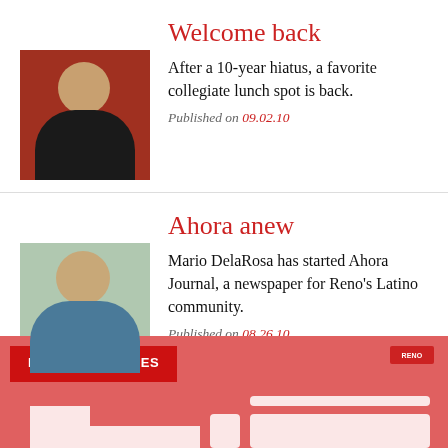Welcome back
After a 10-year hiatus, a favorite collegiate lunch spot is back.
Published on 09.02.10
[Figure (photo): Portrait photo of a man against a red/dark background]
Ahora anew
Mario DelaRosa has started Ahora Journal, a newspaper for Reno's Latino community.
Published on 08.26.10
[Figure (photo): Portrait photo of a bearded man with glasses outdoors]
RECENT ARTICLES